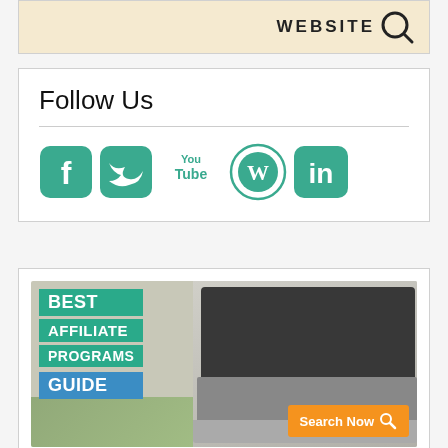[Figure (illustration): Partial banner image showing a website advertisement with figure silhouette on cream background]
Follow Us
[Figure (illustration): Social media icons: Facebook, Twitter, YouTube, WordPress, LinkedIn in teal color]
[Figure (illustration): Best Affiliate Programs Guide advertisement banner with laptop image and Search Now button]